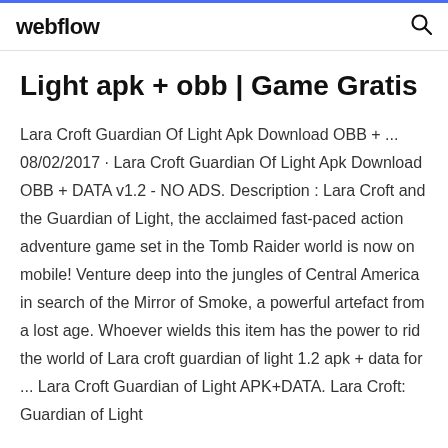webflow
Light apk + obb | Game Gratis
Lara Croft Guardian Of Light Apk Download OBB + ... 08/02/2017 · Lara Croft Guardian Of Light Apk Download OBB + DATA v1.2 - NO ADS. Description : Lara Croft and the Guardian of Light, the acclaimed fast-paced action adventure game set in the Tomb Raider world is now on mobile! Venture deep into the jungles of Central America in search of the Mirror of Smoke, a powerful artefact from a lost age. Whoever wields this item has the power to rid the world of Lara croft guardian of light 1.2 apk + data for ... Lara Croft Guardian of Light APK+DATA. Lara Croft: Guardian of Light